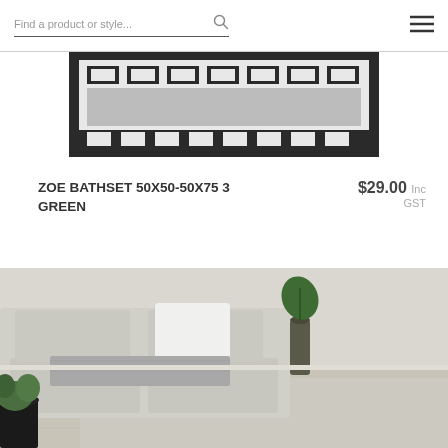Find a product or style...
[Figure (photo): Top-down or angled product image of a green bath set rug with geometric Greek key border pattern in black and white]
ZOE BATHSET 50X50-50X75 3 GREEN
$29.00 Inc GST
[Figure (photo): Lifestyle room scene showing a light grey sectional sofa with white pillow, grey throw blanket, dark glass vase with monstera leaf, green potted plant on floor, light wood-look tile flooring with a large light grey area rug]